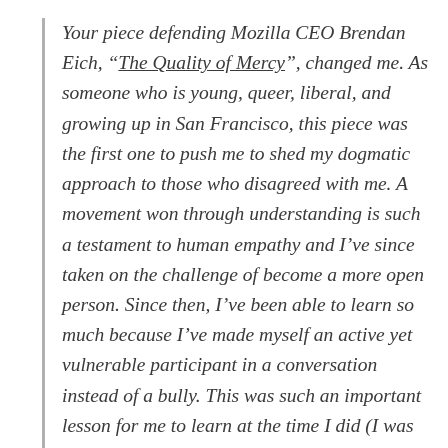Your piece defending Mozilla CEO Brendan Eich, “The Quality of Mercy”, changed me. As someone who is young, queer, liberal, and growing up in San Francisco, this piece was the first one to push me to shed my dogmatic approach to those who disagreed with me. A movement won through understanding is such a testament to human empathy and I’ve since taken on the challenge of become a more open person. Since then, I’ve been able to learn so much because I’ve made myself an active yet vulnerable participant in a conversation instead of a bully. This was such an important lesson for me to learn at the time I did (I was 17 and